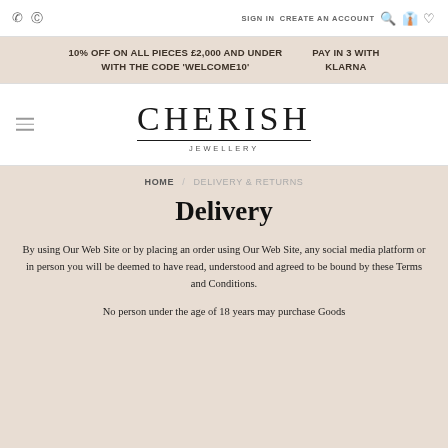SIGN IN  CREATE AN ACCOUNT
10% OFF ON ALL PIECES £2,000 AND UNDER WITH THE CODE 'WELCOME10'   PAY IN 3 WITH KLARNA
[Figure (logo): Cherish Jewellery logo with serif font and underline]
HOME / DELIVERY & RETURNS
Delivery
By using Our Web Site or by placing an order using Our Web Site, any social media platform or in person you will be deemed to have read, understood and agreed to be bound by these Terms and Conditions.
No person under the age of 18 years may purchase Goods